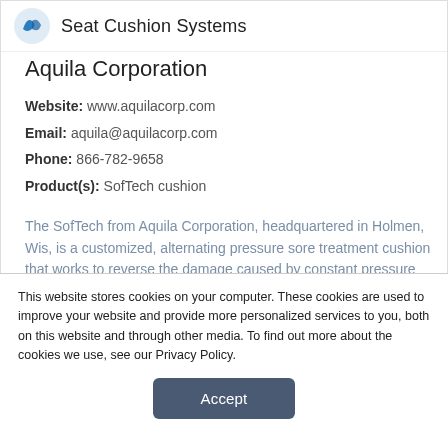Seat Cushion Systems
Aquila Corporation
Website: www.aquilacorp.com
Email: aquila@aquilacorp.com
Phone: 866-782-9658
Product(s): SofTech cushion
The SofTech from Aquila Corporation, headquartered in Holmen, Wis, is a customized, alternating pressure sore treatment cushion that works to reverse the damage caused by constant pressure to skin and
This website stores cookies on your computer. These cookies are used to improve your website and provide more personalized services to you, both on this website and through other media. To find out more about the cookies we use, see our Privacy Policy.